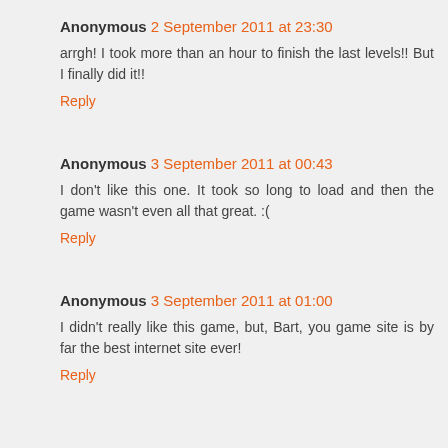Anonymous 2 September 2011 at 23:30
arrgh! I took more than an hour to finish the last levels!! But I finally did it!!
Reply
Anonymous 3 September 2011 at 00:43
I don't like this one. It took so long to load and then the game wasn't even all that great. :(
Reply
Anonymous 3 September 2011 at 01:00
I didn't really like this game, but, Bart, you game site is by far the best internet site ever!
Reply